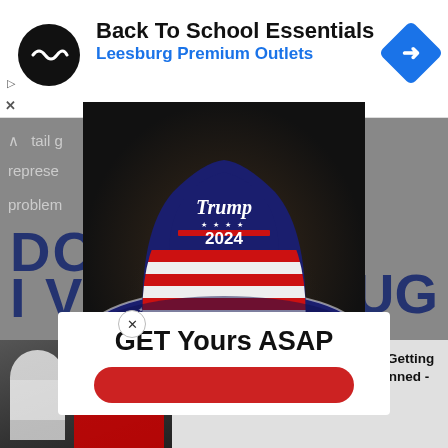[Figure (screenshot): Top advertisement banner for Back To School Essentials at Leesburg Premium Outlets, with round black logo, blue navigation icon, and ad controls]
Back To School Essentials
Leesburg Premium Outlets
[Figure (screenshot): Background page content partially visible behind overlay, showing truncated text about tail g... nior represe... e problem... and large dark blue bold text 'DO' 'I V' 'UG']
[Figure (photo): Trump 2024 bucket hat with stars and stripes brim, navy blue crown with 'Trump 2024' embroidered text, glowing edge lighting, on dark background]
GET Yours ASAP
[Figure (screenshot): Bottom native ad strip showing photo of Melania and Donald Trump with play button overlay, beside headline text 'Top Democrats Fear This Video Getting Out — Watch Now Before It's Banned - Ad']
Top Democrats Fear This Video Getting Out — Watch Now Before It's Banned - Ad